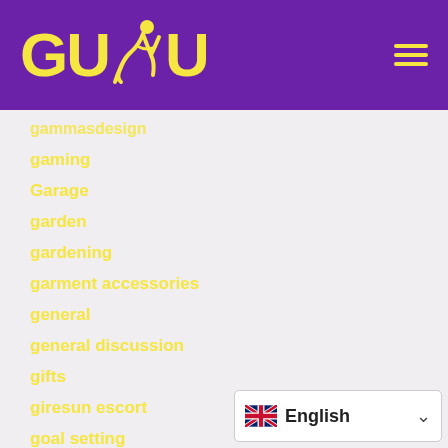[Figure (logo): GUDU logo with yellow text and running figure on purple background]
gammasdesign
gaming
Garage
garden
gardening
garment accessories
general
general discussion
gifts
giresun escort
goal setting
golf
good
[Figure (screenshot): Language selector showing UK flag and English with dropdown arrow]